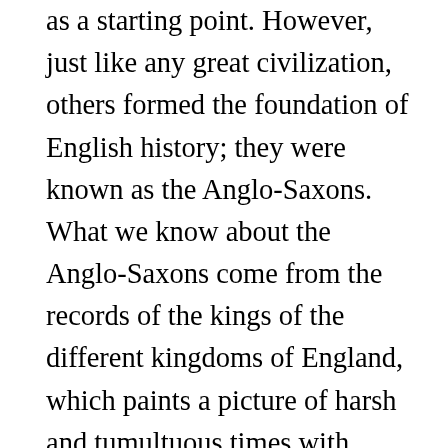as a starting point. However, just like any great civilization, others formed the foundation of English history; they were known as the Anglo-Saxons. What we know about the Anglo-Saxons come from the records of the kings of the different kingdoms of England, which paints a picture of harsh and tumultuous times with power-struggles. However, every strong king and gentleman of the time knew that to succeed, they needed a woman that was equally strong with a bloodline that would make them untouchable. The stories of these women who helped define this era of Anglo-Saxon rulers in England have long